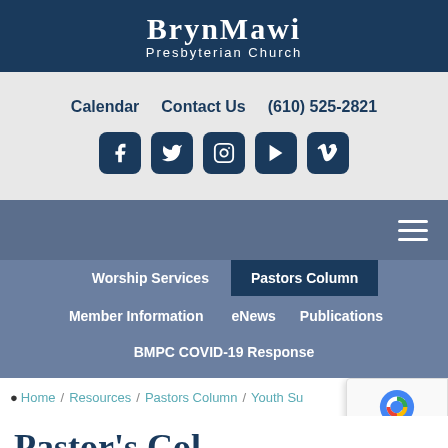BrynMawr Presbyterian Church
Calendar   Contact Us   (610) 525-2821
[Figure (other): Social media icons: Facebook, Twitter, Instagram, YouTube, Vimeo]
[Figure (other): Hamburger menu icon (three horizontal lines)]
Worship Services   Pastors Column   Member Information   eNews   Publications   BMPC COVID-19 Response
Home / Resources / Pastors Column / Youth Su...
Pastor's Col...